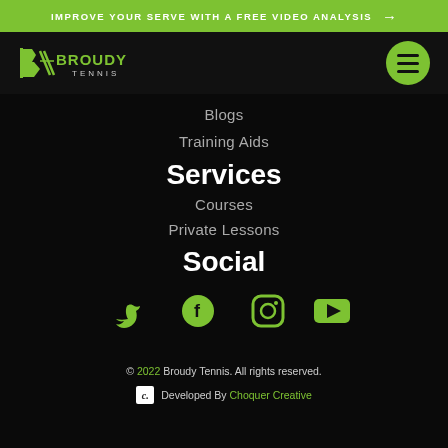IMPROVE YOUR SERVE WITH A FREE VIDEO ANALYSIS →
[Figure (logo): Broudy Tennis logo with stylized B and tennis racket graphic, green and white on dark background]
Blogs
Training Aids
Services
Courses
Private Lessons
Social
[Figure (infographic): Social media icons: Twitter bird, Facebook f, Instagram camera, YouTube play button — all in green]
© 2022 Broudy Tennis. All rights reserved.
Developed By Choquer Creative